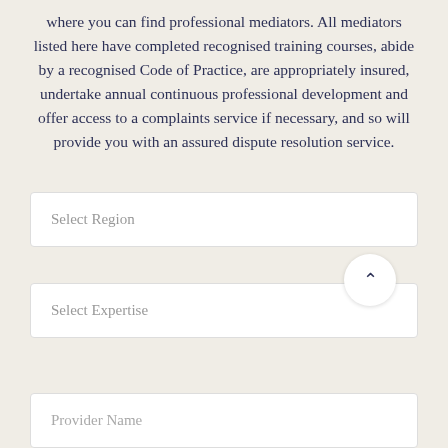where you can find professional mediators. All mediators listed here have completed recognised training courses, abide by a recognised Code of Practice, are appropriately insured, undertake annual continuous professional development and offer access to a complaints service if necessary, and so will provide you with an assured dispute resolution service.
Select Region
Select Expertise
Provider Name